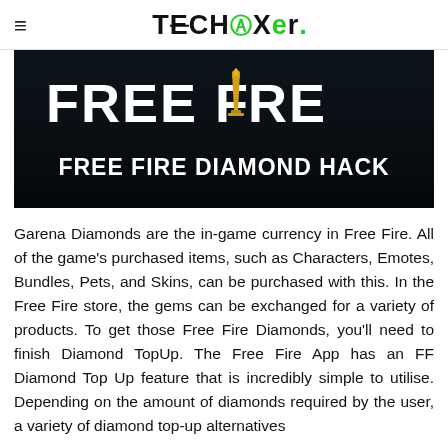≡  TECHaXer.
[Figure (illustration): Free Fire Diamond Hack banner image with white bold text 'FREE FIRE' and a golden dagger replacing the letter 'i', below which reads 'FREE FIRE DIAMOND HACK' in white bold text on dark background]
Garena Diamonds are the in-game currency in Free Fire. All of the game's purchased items, such as Characters, Emotes, Bundles, Pets, and Skins, can be purchased with this. In the Free Fire store, the gems can be exchanged for a variety of products. To get those Free Fire Diamonds, you'll need to finish Diamond TopUp. The Free Fire App has an FF Diamond Top Up feature that is incredibly simple to utilise. Depending on the amount of diamonds required by the user, a variety of diamond top-up alternatives